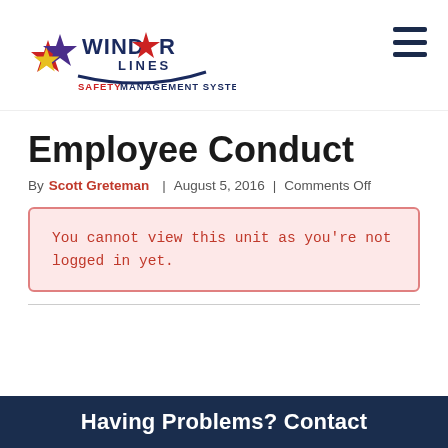[Figure (logo): WindStar Lines Safety Management System logo with colorful star graphic and red/purple/navy text]
Employee Conduct
By Scott Greteman | August 5, 2016 | Comments Off
You cannot view this unit as you're not logged in yet.
Having Problems? Contact